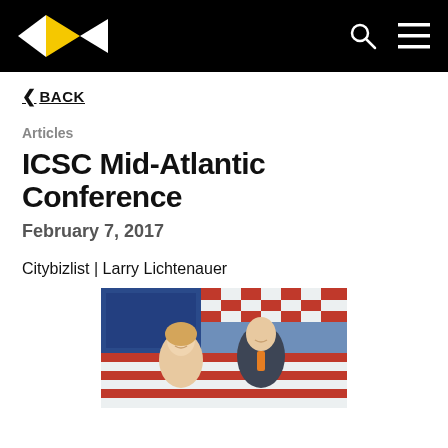[Figure (logo): Navigation bar with a black background featuring a geometric logo (white and yellow diamond/arrow shapes), a search icon, and a hamburger menu icon on the right.]
< BACK
Articles
ICSC Mid-Atlantic Conference
February 7, 2017
Citybizlist | Larry Lichtenauer
[Figure (photo): Photo of a woman and a man smiling in front of a colorful American flag mosaic backdrop.]